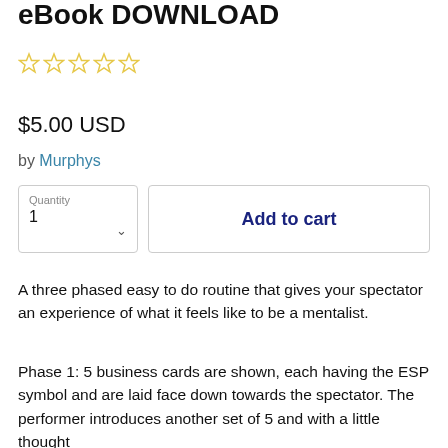eBook DOWNLOAD
[Figure (other): Five empty star rating icons in yellow/gold outline]
$5.00 USD
by Murphys
Quantity 1 [dropdown] | Add to cart [button]
A three phased easy to do routine that gives your spectator an experience of what it feels like to be a mentalist.
Phase 1: 5 business cards are shown, each having the ESP symbol and are laid face down towards the spectator. The performer introduces another set of 5 and with a little thought